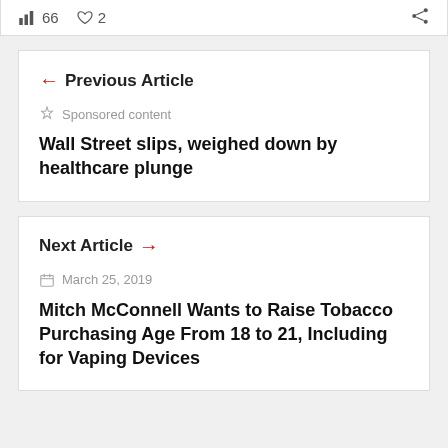66 views  2 likes  share
← Previous Article
Sponsored content
Wall Street slips, weighed down by healthcare plunge
Next Article →
March 25, 2019
Mitch McConnell Wants to Raise Tobacco Purchasing Age From 18 to 21, Including for Vaping Devices